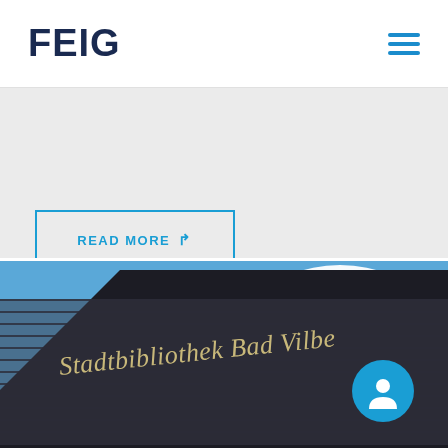FEIG
READ MORE
[Figure (photo): Photograph of the Stadtbibliothek Bad Vilbel building — a dark modern building with horizontal louvers/fins, text 'Stadtbibliothek Bad Vilbel' on the facade, blue sky with clouds in background. A circular blue user/person icon overlaid in lower-right corner.]